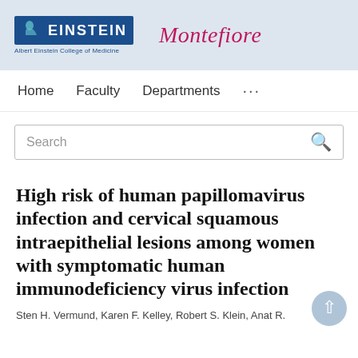[Figure (logo): Albert Einstein College of Medicine and Montefiore institutional logos on a light blue header bar]
Home    Faculty    Departments    ...
Search
High risk of human papillomavirus infection and cervical squamous intraepithelial lesions among women with symptomatic human immunodeficiency virus infection
Sten H. Vermund, Karen F. Kelley, Robert S. Klein, Anat R.